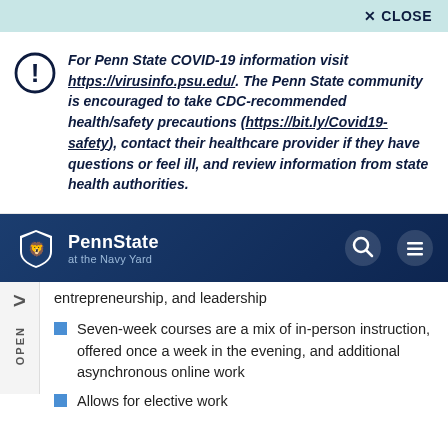✕ CLOSE
For Penn State COVID-19 information visit https://virusinfo.psu.edu/. The Penn State community is encouraged to take CDC-recommended health/safety precautions (https://bit.ly/Covid19-safety), contact their healthcare provider if they have questions or feel ill, and review information from state health authorities.
[Figure (screenshot): Penn State at the Navy Yard navigation bar with shield logo, search icon, and hamburger menu icon]
entrepreneurship, and leadership
Seven-week courses are a mix of in-person instruction, offered once a week in the evening, and additional asynchronous online work
Allows for elective work...